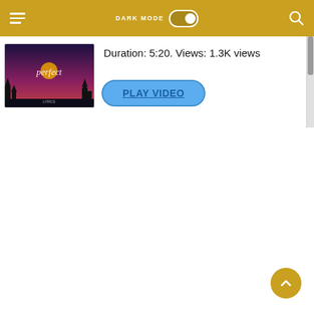DARK MODE [toggle] [search icon]
[Figure (screenshot): Video thumbnail showing dark background with text 'perfect' in white italic font, purple/pink sky scene]
Duration: 5:20. Views: 1.3K views
PLAY VIDEO